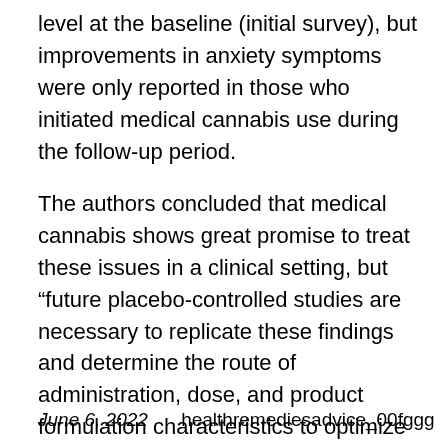level at the baseline (initial survey), but improvements in anxiety symptoms were only reported in those who initiated medical cannabis use during the follow-up period.
The authors concluded that medical cannabis shows great promise to treat these issues in a clinical setting, but “future placebo-controlled studies are necessary to replicate these findings and determine the route of administration, dose, and product formulation characteristics to optimize clinical outcomes.”
June 6, 2022    healthremediesadvice_00fggg